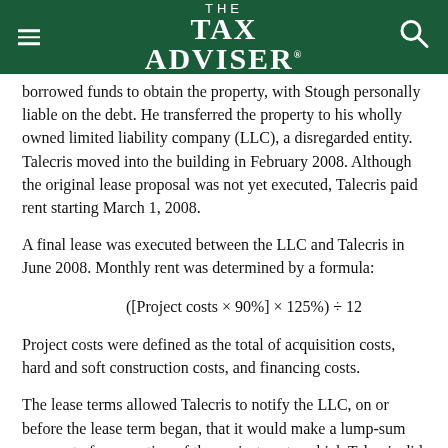THE TAX ADVISER
borrowed funds to obtain the property, with Stough personally liable on the debt. He transferred the property to his wholly owned limited liability company (LLC), a disregarded entity. Talecris moved into the building in February 2008. Although the original lease proposal was not yet executed, Talecris paid rent starting March 1, 2008.
A final lease was executed between the LLC and Talecris in June 2008. Monthly rent was determined by a formula:
Project costs were defined as the total of acquisition costs, hard and soft construction costs, and financing costs.
The lease terms allowed Talecris to notify the LLC, on or before the lease term began, that it would make a lump-sum payment of any portion of the project costs, which Talecris did in April 2008. It made a payment of $1 million for project costs, which